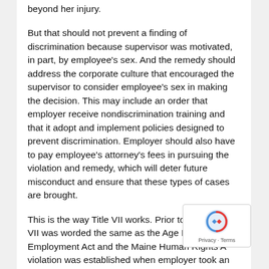beyond her injury.
But that should not prevent a finding of discrimination because supervisor was motivated, in part, by employee's sex. And the remedy should address the corporate culture that encouraged the supervisor to consider employee's sex in making the decision. This may include an order that employer receive nondiscrimination training and that it adopt and implement policies designed to prevent discrimination. Employer should also have to pay employee's attorney's fees in pursuing the violation and remedy, which will deter future misconduct and ensure that these types of cases are brought.
This is the way Title VII works. Prior to 1991, Title VII was worded the same as the Age Discrimination Employment Act and the Maine Human Rights A violation was established when employer took an